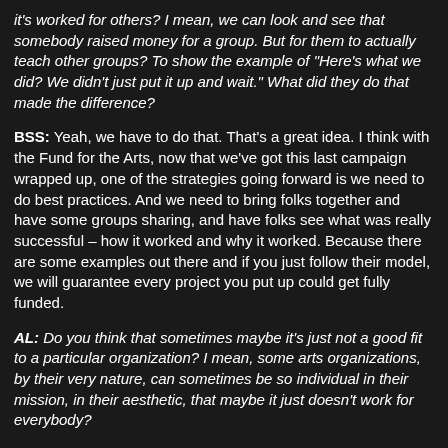it's worked for others? I mean, we can look and see that somebody raised money for a group. But for them to actually teach other groups? To show the example of "Here's what we did? We didn't just put it up and wait." What did they do that made the difference?
BSS: Yeah, we have to do that. That's a great idea. I think with the Fund for the Arts, now that we've got this last campaign wrapped up, one of the strategies going forward is we need to do best practices. And we need to bring folks together and have some groups sharing, and have folks see what was really successful – how it worked and why it worked. Because there are some examples out there and if you just follow their model, we will guarantee every project you put up could get fully funded.
AL: Do you think that sometimes maybe it's just not a good fit to a particular organization? I mean, some arts organizations, by their very nature, can sometimes be so individual in their mission, in their aesthetic, that maybe it just doesn't work for everybody?